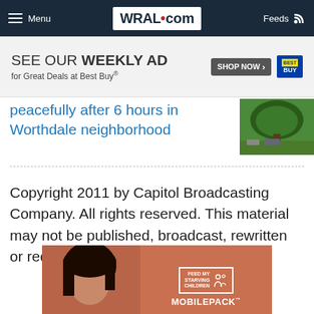Menu | WRAL.com | Feeds
[Figure (screenshot): Best Buy advertisement banner: SEE OUR WEEKLY AD for Great Deals at Best Buy® with SHOP NOW button and Best Buy logo]
peacefully after 6 hours in Worthdale neighborhood
[Figure (photo): Outdoor scene with a large green tree]
Copyright 2011 by Capitol Broadcasting Company. All rights reserved. This material may not be published, broadcast, rewritten or redistributed.
[Figure (photo): Advertisement for Feed My Starving Children MOBILEPACK showing a smiling child against a terracotta wall]